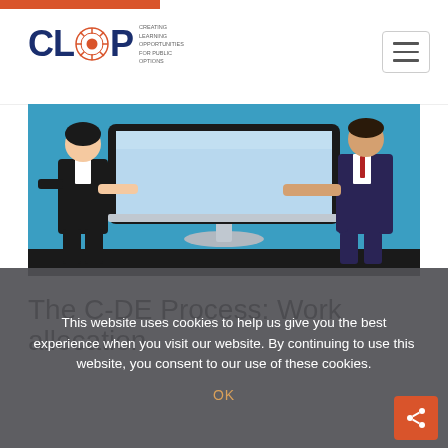[Figure (logo): CLOP logo with orange gear/mandala icon and blue text, with tagline 'Creating Learning Opportunities for Public Options']
[Figure (illustration): Cartoon illustration showing two business people standing on either side of a large computer monitor on a blue background, one woman and one man in business attire]
The C-DE Process: Work allocation
This website uses cookies to help us give you the best experience when you visit our website. By continuing to use this website, you consent to our use of these cookies.
OK